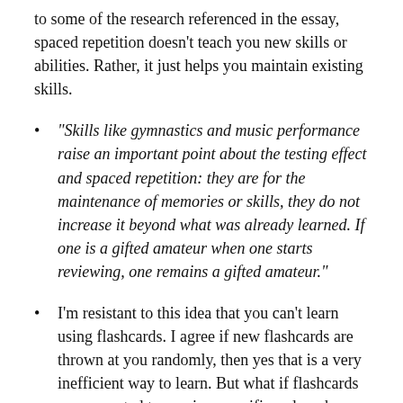to some of the research referenced in the essay, spaced repetition doesn't teach you new skills or abilities. Rather, it just helps you maintain existing skills.
“Skills like gymnastics and music performance raise an important point about the testing effect and spaced repetition: they are for the maintenance of memories or skills, they do not increase it beyond what was already learned. If one is a gifted amateur when one starts reviewing, one remains a gifted amateur.”
I’m resistant to this idea that you can’t learn using flashcards. I agree if new flashcards are thrown at you randomly, then yes that is a very inefficient way to learn. But what if flashcards are presented to you in a specific order when you are learning them, and “advanced” cards are not